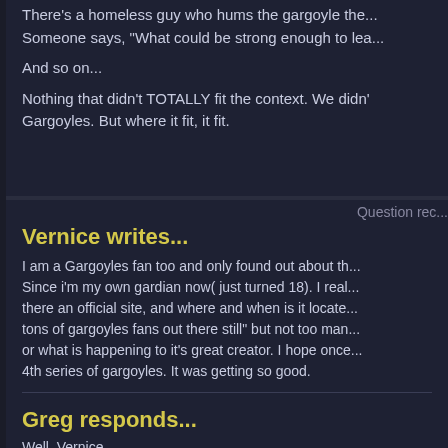There's a homeless guy who hums the gargoyle the...
Someone says, "What could be strong enough to lea...
And so on...
Nothing that didn't TOTALLY fit the context. We didn't... Gargoyles. But where it fit, it fit.
Question rec...
Vernice writes...
I am a Gargoyles fan too and only found out about th... Since i'm my own gardian now( just turned 18). I real... there an official site, and where and when is it locate... tons of gargoyles fans out there still" but not too man... or what is happening to it's great creator. I hope once... 4th series of gargoyles. It was getting so good.
Greg responds...
Well, Vernice,